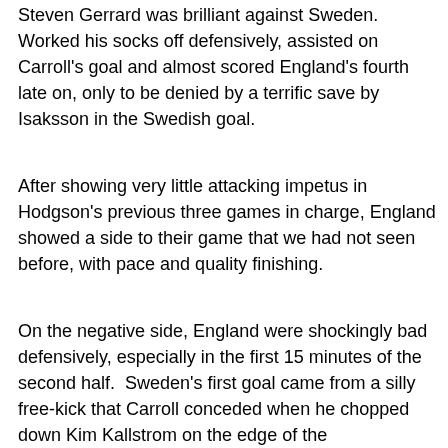Steven Gerrard was brilliant against Sweden. Worked his socks off defensively, assisted on Carroll's goal and almost scored England's fourth late on, only to be denied by a terrific save by Isaksson in the Swedish goal.
After showing very little attacking impetus in  Hodgson's previous three games in charge, England showed a side to their game that we had not seen before, with pace and quality finishing.
On the negative side, England were shockingly bad defensively, especially in the first 15 minutes of the second half.  Sweden's first goal came from a silly free-kick that Carroll conceded when he chopped down Kim Kallstrom on the edge of the box.Ibrahimovic's first shot was blocked but then he sent in a hopeful half-volley, Mellberg had all the time